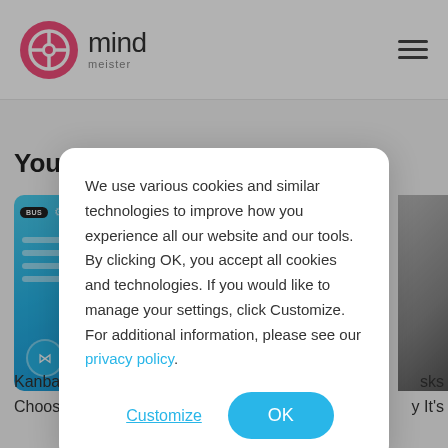MindMeister
You m
[Figure (screenshot): Blue app UI screenshot showing BUS badge and share icon, partially visible on left]
[Figure (photo): Partial photo of person with dark hair on right edge]
We use various cookies and similar technologies to improve how you experience all our website and our tools. By clicking OK, you accept all cookies and technologies. If you would like to manage your settings, click Customize. For additional information, please see our privacy policy.
Customize
OK
Kanba
Choos
sks
y It's